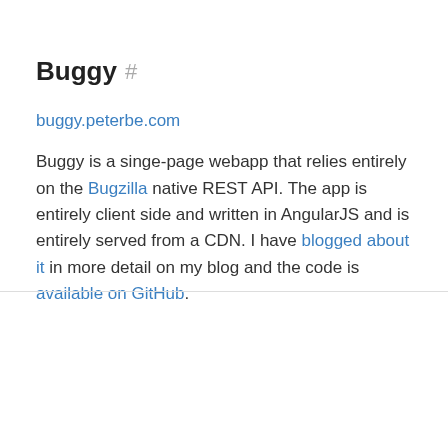Buggy #
buggy.peterbe.com
Buggy is a singe-page webapp that relies entirely on the Bugzilla native REST API. The app is entirely client side and written in AngularJS and is entirely served from a CDN. I have blogged about it in more detail on my blog and the code is available on GitHub.